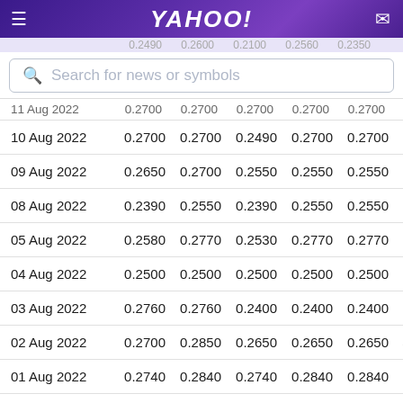YAHOO!
Search for news or symbols
| Date | Open | High | Low | Close | Adj Close | Volume |
| --- | --- | --- | --- | --- | --- | --- |
| 11 Aug 2022 | 0.2700 | 0.2700 | 0.2700 | 0.2700 | 0.2700 |  |
| 10 Aug 2022 | 0.2700 | 0.2700 | 0.2490 | 0.2700 | 0.2700 | 66 |
| 09 Aug 2022 | 0.2650 | 0.2700 | 0.2550 | 0.2550 | 0.2550 | 1 |
| 08 Aug 2022 | 0.2390 | 0.2550 | 0.2390 | 0.2550 | 0.2550 | 7 |
| 05 Aug 2022 | 0.2580 | 0.2770 | 0.2530 | 0.2770 | 0.2770 | 4 |
| 04 Aug 2022 | 0.2500 | 0.2500 | 0.2500 | 0.2500 | 0.2500 | 9 |
| 03 Aug 2022 | 0.2760 | 0.2760 | 0.2400 | 0.2400 | 0.2400 | 1 |
| 02 Aug 2022 | 0.2700 | 0.2850 | 0.2650 | 0.2650 | 0.2650 | 52 |
| 01 Aug 2022 | 0.2740 | 0.2840 | 0.2740 | 0.2840 | 0.2840 | 22 |
| 29 July 2022 | 0.2710 | 0.2710 | 0.2710 | 0.2710 | 0.2710 | 40 |